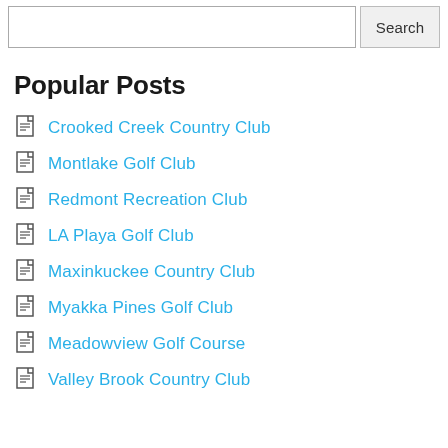[Figure (other): Search input box and Search button]
Popular Posts
Crooked Creek Country Club
Montlake Golf Club
Redmont Recreation Club
LA Playa Golf Club
Maxinkuckee Country Club
Myakka Pines Golf Club
Meadowview Golf Course
Valley Brook Country Club